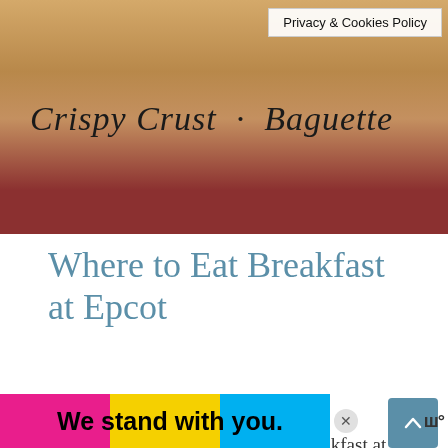[Figure (photo): Close-up photo of bread/baguette packaging with cursive text 'Crispy Crust · Baguette' on a red background. A 'Privacy & Cookies Policy' button overlays the top-right corner.]
Where to Eat Breakfast at Epcot
January 25, 2021 by Leah
Are you wondering where to eat breakfast at Epcot during your day at the Disney park? Although there may not be a lot of choices, think the Epcot breakfast offerings are great fo...
We stand with you.